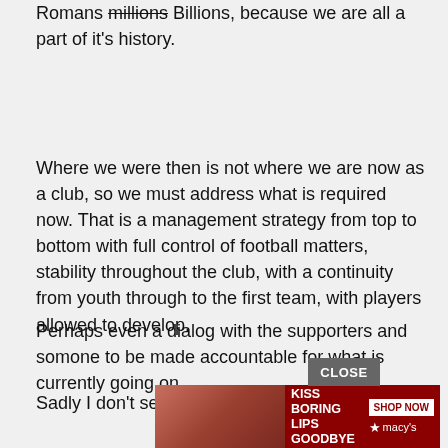Romans millions Billions, because we are all a part of it's history.
Where we were then is not where we are now as a club, so we must address what is required now. That is a management strategy from top to bottom with full control of football matters, stability throughout the club, with a continuity from youth through to the first team, with players allowed to develop.
Perhaps even a dialog with the supporters and somone to be made accountable for what is currently going on.
Sadly I don't see any of this happening soon, so [ad overlay] ld be the '[ad overlay] not reali[ad overlay] t, but this [cut off]
[Figure (other): Advertisement overlay: Macy's lipstick ad with text 'KISS BORING LIPS GOODBYE' and 'SHOP NOW' button, with a close button labeled 'CLOSE']